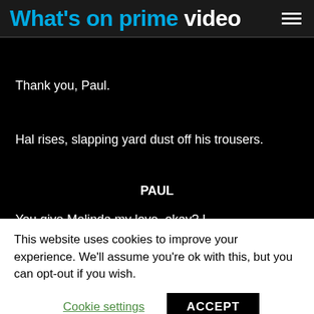What's on prime video
Thank you, Paul.
Hal rises, slapping yard dust off his trousers.
PAUL
You give Melinda my love, okay? I bet that X-ray turns out to be
This website uses cookies to improve your experience. We'll assume you're ok with this, but you can opt-out if you wish.
Cookie settings
ACCEPT